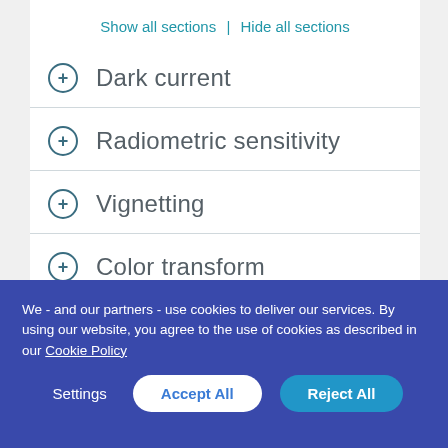Show all sections | Hide all sections
Dark current
Radiometric sensitivity
Vignetting
Color transform
We - and our partners - use cookies to deliver our services. By using our website, you agree to the use of cookies as described in our Cookie Policy
Settings | Accept All | Reject All